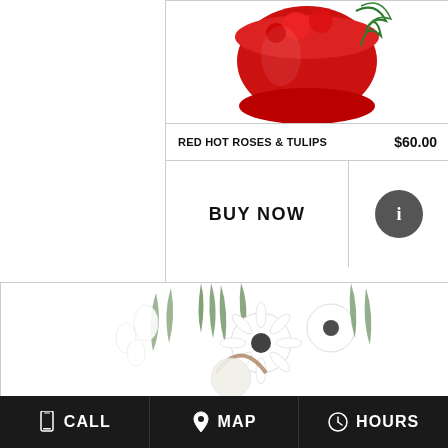[Figure (photo): Top portion of red roses and tulips arrangement in red ceramic pot, with green foliage, cropped at top]
RED HOT ROSES & TULIPS
$60.00
BUY NOW
[Figure (illustration): Info button - dark circle with white letter i]
[Figure (photo): Large white flower basket arrangement with white gerbera daisies, white delphinium, spider mums, and green rosemary-like foliage in a wicker basket]
CALL   MAP   HOURS